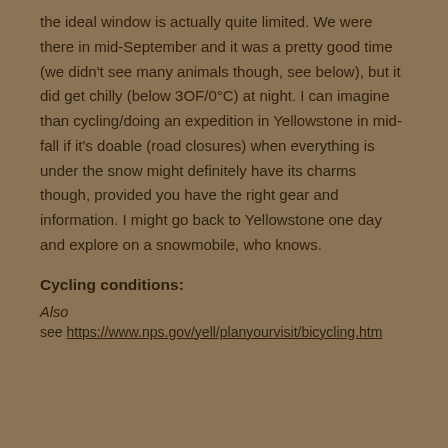the ideal window is actually quite limited. We were there in mid-September and it was a pretty good time (we didn't see many animals though, see below), but it did get chilly (below 30F/0°C) at night. I can imagine than cycling/doing an expedition in Yellowstone in mid-fall if it's doable (road closures) when everything is under the snow might definitely have its charms though, provided you have the right gear and information. I might go back to Yellowstone one day and explore on a snowmobile, who knows.
Cycling conditions:
Also
see https://www.nps.gov/yell/planyourvisit/bicycling.htm